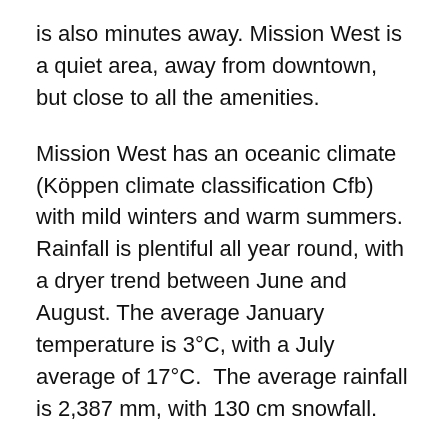is also minutes away. Mission West is a quiet area, away from downtown, but close to all the amenities.
Mission West has an oceanic climate (Köppen climate classification Cfb) with mild winters and warm summers. Rainfall is plentiful all year round, with a dryer trend between June and August. The average January temperature is 3°C, with a July average of 17°C.  The average rainfall is 2,387 mm, with 130 cm snowfall.
The unemployment rate in Mission is 5.6%, which is below that of the province, at 6.0% (2016). Mission's median household income is $65,411 (CDN). The median age is 39, making Mission a young population